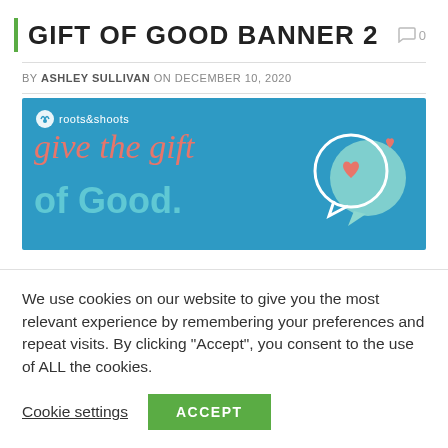GIFT OF GOOD BANNER 2
BY ASHLEY SULLIVAN ON DECEMBER 10, 2020
[Figure (illustration): Roots & Shoots banner image with blue background showing cursive text 'give the gift of Good.' in coral and light blue colors, with a chat bubble graphic containing a heart on the right side.]
We use cookies on our website to give you the most relevant experience by remembering your preferences and repeat visits. By clicking "Accept", you consent to the use of ALL the cookies.
Cookie settings   ACCEPT